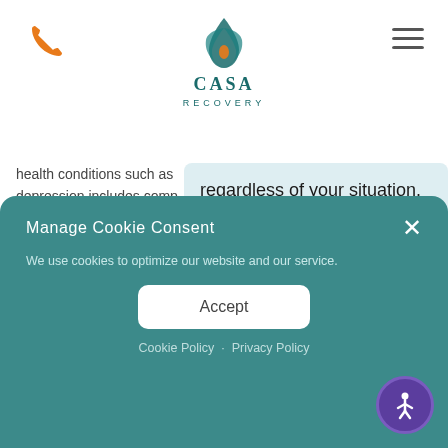[Figure (logo): CASA Recovery logo with teal leaf/flame symbol above text CASA RECOVERY]
health conditions such as depression includes comp with medication or other t
regardless of your situation. To get you personalized recommendations I need to know a little more info. Are you a new or existing patient?
The Bene
Manage Cookie Consent
We use cookies to optimize our website and our service.
Accept
Cookie Policy · Privacy Policy